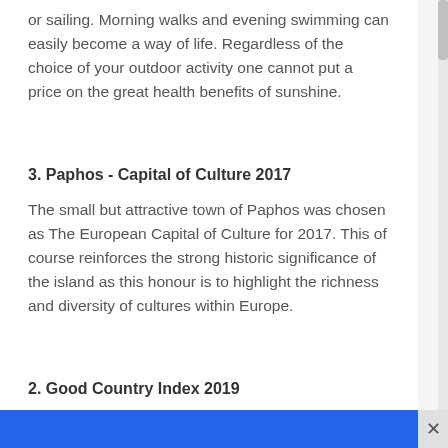or sailing. Morning walks and evening swimming can easily become a way of life. Regardless of the choice of your outdoor activity one cannot put a price on the great health benefits of sunshine.
3. Paphos - Capital of Culture 2017
The small but attractive town of Paphos was chosen as The European Capital of Culture for 2017. This of course reinforces the strong historic significance of the island as this honour is to highlight the richness and diversity of cultures within Europe.
2. Good Country Index 2019
The good country index ranks countries based on their contribution to the well-being of humanity. Cyprus took